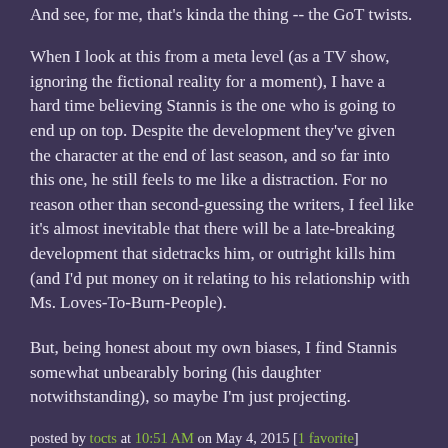And see, for me, that's kinda the thing -- the GoT twists.
When I look at this from a meta level (as a TV show, ignoring the fictional reality for a moment), I have a hard time believing Stannis is the one who is going to end up on top. Despite the development they've given the character at the end of last season, and so far into this one, he still feels to me like a distraction. For no reason other than second-guessing the writers, I feel like it's almost inevitable that there will be a late-breaking development that sidetracks him, or outright kills him (and I'd put money on it relating to his relationship with Ms. Loves-To-Burn-People).
But, being honest about my own biases, I find Stannis somewhat unbearably boring (his daughter notwithstanding), so maybe I'm just projecting.
posted by tocts at 10:51 AM on May 4, 2015 [1 favorite]